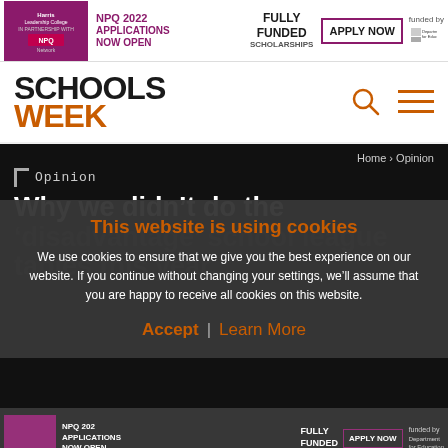[Figure (infographic): NPQ 2022 Applications Now Open - Fully Funded Scholarships - Apply Now - Funded by Department for Education banner advertisement with Harris Leadership College logo in purple]
[Figure (logo): Schools Week logo with SCHOOLS in black bold and WEEK in orange bold, with search icon and hamburger menu icon]
Home › Opinion
Opinion
Why we didn't do the 'disadvantage' school league tables this year...
This website is using cookies
We use cookies to ensure that we give you the best experience on our website. If you continue without changing your settings, we'll assume that you are happy to receive all cookies on this website.
Accept | Learn More
[Figure (infographic): Repeated NPQ 2022 banner at bottom, partially visible and darkened]